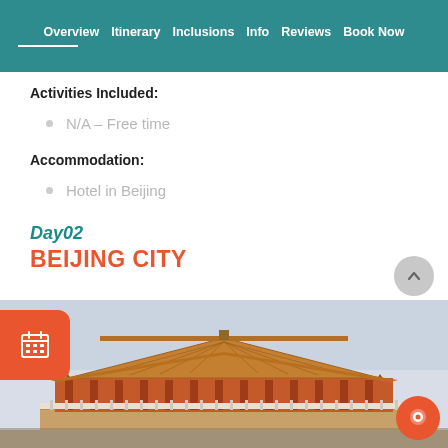Overview  Itinerary  Inclusions  Info  Reviews  Book Now
Activities Included:
N/A – Free time
Accommodation:
Hotel in Beijing
Day02
BEIJING CITY
[Figure (photo): Photo of a traditional Chinese imperial palace building (Forbidden City / Beijing), with ornate tiled roofs, red pillars and walls, seen from the front.]